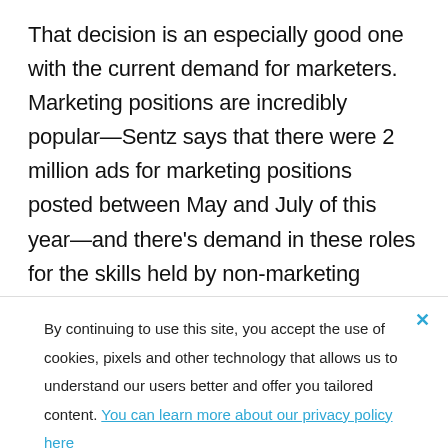That decision is an especially good one with the current demand for marketers. Marketing positions are incredibly popular—Sentz says that there were 2 million ads for marketing positions posted between May and July of this year—and there's demand in these roles for the skills held by non-marketing graduates. In terms of major
By continuing to use this site, you accept the use of cookies, pixels and other technology that allows us to understand our users better and offer you tailored content. You can learn more about our privacy policy here